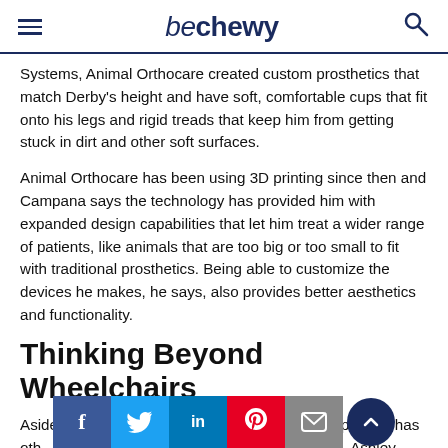be chewy
Systems, Animal Orthocare created custom prosthetics that match Derby's height and have soft, comfortable cups that fit onto his legs and rigid treads that keep him from getting stuck in dirt and other soft surfaces.
Animal Orthocare has been using 3D printing since then and Campana says the technology has provided him with expanded design capabilities that let him treat a wider range of patients, like animals that are too big or too small to fit with traditional prosthetics. Being able to customize the devices he makes, he says, also provides better aesthetics and functionality.
Thinking Beyond Wheelchairs
Aside from wheelchairs and prosthetic legs, 3D printing has other uses in helping pets and their humans. Ashley Looper, a veterinarian technician and adoptive